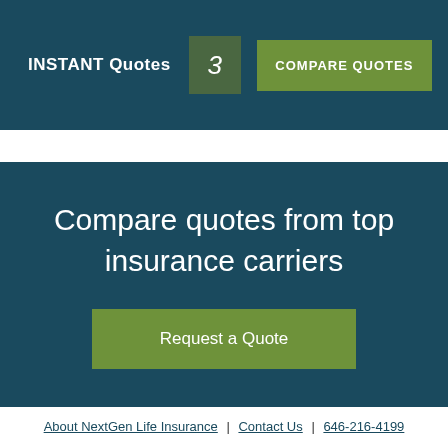INSTANT Quotes   3   COMPARE QUOTES
Compare quotes from top insurance carriers
Request a Quote
About NextGen Life Insurance | Contact Us | 646-216-4199